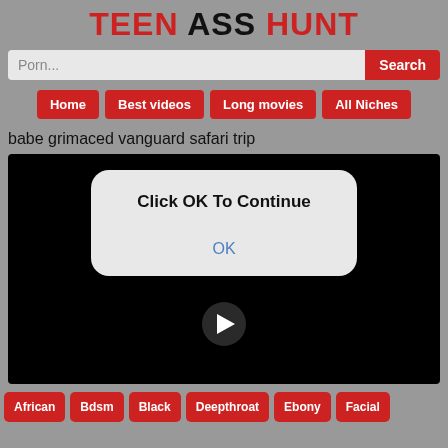TEEN ASS HUNT
Porn...
Home
Best videos
Long movies
All Niches
babe grimaced vanguard safari trip
[Figure (screenshot): Video player showing black screen with a modal dialog overlay reading 'Click OK To Continue' with an OK button, and a play button below]
African
Bdsm
Black
Deepthroat
Ebony
Facial